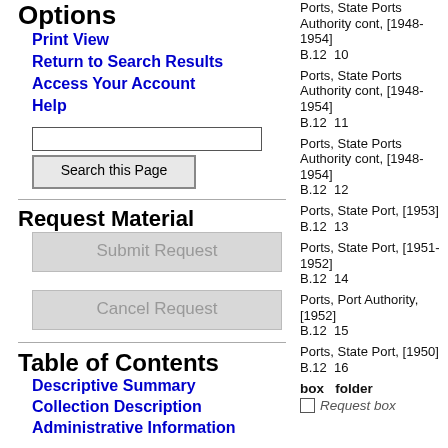Options
Print View
Return to Search Results
Access Your Account
Help
Request Material
Table of Contents
Descriptive Summary
Collection Description
Administrative Information
| box | folder | description |
| --- | --- | --- |
| B.12 | 10 | Ports, State Ports Authority cont, [1948-1954] |
| B.12 | 11 | Ports, State Ports Authority cont, [1948-1954] |
| B.12 | 12 | Ports, State Ports Authority cont, [1948-1954] |
| B.12 | 13 | Ports, State Port, [1953] |
| B.12 | 14 | Ports, State Port, [1951-1952] |
| B.12 | 15 | Ports, Port Authority, [1952] |
| B.12 | 16 | Ports, State Port, [1950] |